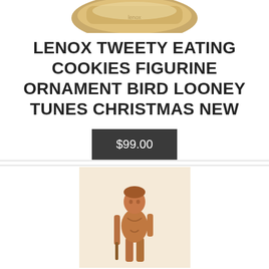[Figure (photo): Partial view of a Lenox Tweety bird figurine ornament, showing the top portion of the product on a gold/cream base, cropped at the top of the page.]
LENOX TWEETY EATING COOKIES FIGURINE ORNAMENT BIRD LOONEY TUNES CHRISTMAS NEW
$99.00
[Figure (photo): A bronze-colored figurine of a human-like figure (possibly a hunter or explorer) standing upright, holding a staff/walking stick, with a cream/beige background.]